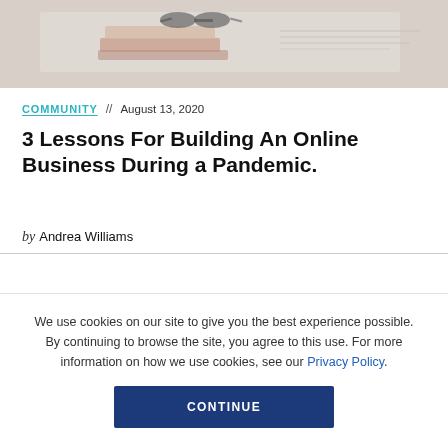[Figure (photo): Hero image showing books and glasses on a desk, soft blurred background]
COMMUNITY // August 13, 2020
3 Lessons For Building An Online Business During a Pandemic.
by Andrea Williams
We use cookies on our site to give you the best experience possible. By continuing to browse the site, you agree to this use. For more information on how we use cookies, see our Privacy Policy.
CONTINUE